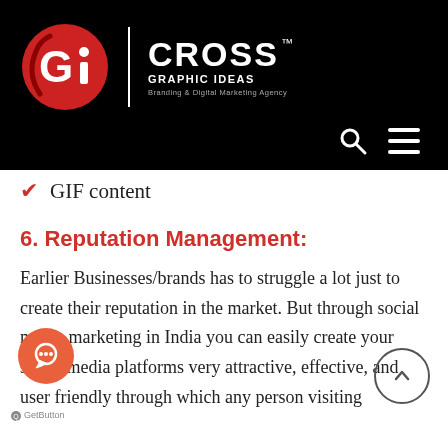[Figure (logo): Cross Graphic Ideas logo — red circle with white G and i letters, vertical white divider, white text CROSS GRAPHIC IDEAS with TM mark, tagline Branding & Digital Marketing Agency, on black background with search and hamburger menu icons]
GIF content
6. Reputation Management:
Earlier Businesses/brands has to struggle a lot just to create their reputation in the market. But through social media marketing in India you can easily create your social media platforms very attractive, effective, and user friendly through which any person visiting